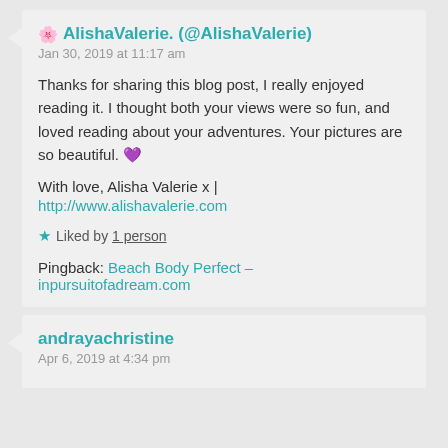🌸 AlishaValerie. (@AlishaValerie)
Jan 30, 2019 at 11:17 am
Thanks for sharing this blog post, I really enjoyed reading it. I thought both your views were so fun, and loved reading about your adventures. Your pictures are so beautiful. 💜
With love, Alisha Valerie x | http://www.alishavalerie.com
★ Liked by 1 person
Pingback: Beach Body Perfect – inpursuitofadream.com
andrayachristine
Apr 6, 2019 at 4:34 pm